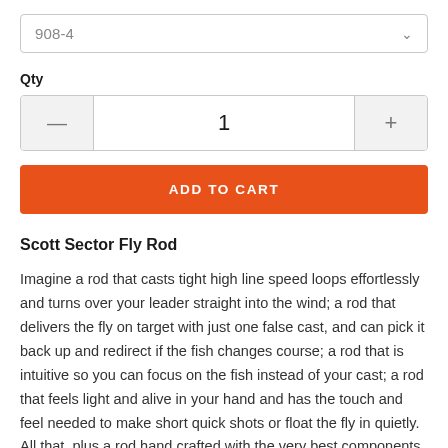908-4
Qty
1
ADD TO CART
Scott Sector Fly Rod
Imagine a rod that casts tight high line speed loops effortlessly and turns over your leader straight into the wind; a rod that delivers the fly on target with just one false cast, and can pick it back up and redirect if the fish changes course; a rod that is intuitive so you can focus on the fish instead of your cast; a rod that feels light and alive in your hand and has the touch and feel needed to make short quick shots or float the fly in quietly. All that, plus a rod hand crafted with the very best components to ever grace a